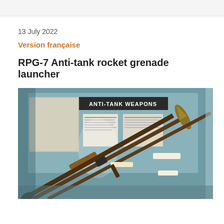13 July 2022
Version française
RPG-7 Anti-tank rocket grenade launcher
[Figure (photo): Museum display case showing RPG-7 anti-tank rocket grenade launchers mounted diagonally, with a sign reading 'ANTI-TANK WEAPONS' visible in the background. The launcher on the left has a warhead attached. Background shows informational panels and display boards.]